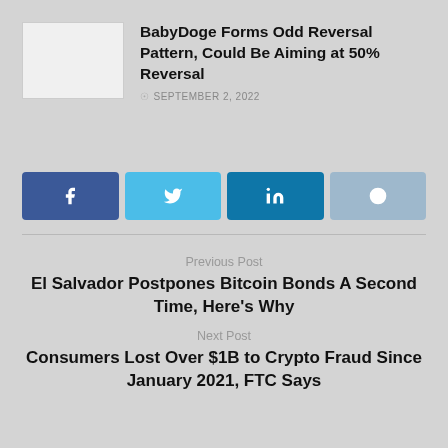[Figure (illustration): Thumbnail image placeholder (light gray rectangle) for article about BabyDoge]
BabyDoge Forms Odd Reversal Pattern, Could Be Aiming at 50% Reversal
SEPTEMBER 2, 2022
[Figure (infographic): Social share buttons row: Facebook (dark blue), Twitter (light blue), LinkedIn (medium blue), Reddit (steel blue)]
Previous Post
El Salvador Postpones Bitcoin Bonds A Second Time, Here's Why
Next Post
Consumers Lost Over $1B to Crypto Fraud Since January 2021, FTC Says